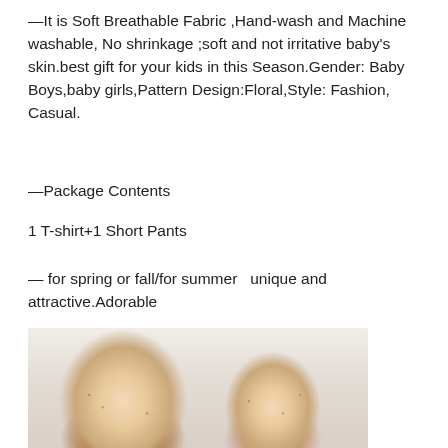—It is Soft Breathable Fabric ,Hand-wash and Machine washable, No shrinkage ;soft and not irritative baby's skin.best gift for your kids in this Season.Gender: Baby Boys,baby girls,Pattern Design:Floral,Style: Fashion, Casual.
—Package Contents
1 T-shirt+1 Short Pants
— for spring or fall/for summer  unique and attractive.Adorable
[Figure (photo): Two young children wearing floral print clothing — a boy on the left in a floral shirt and a baby girl on the right with a floral headband and outfit, both smiling against a light background.]